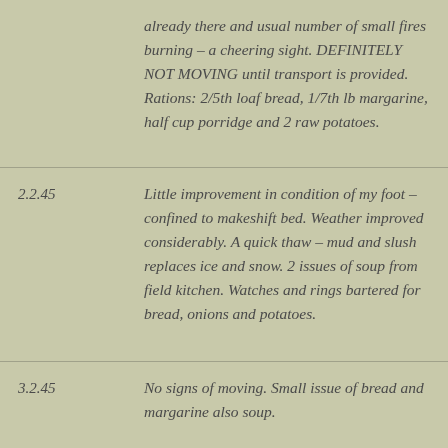already there and usual number of small fires burning – a cheering sight. DEFINITELY NOT MOVING until transport is provided. Rations: 2/5th loaf bread, 1/7th lb margarine, half cup porridge and 2 raw potatoes.
2.2.45  Little improvement in condition of my foot – confined to makeshift bed. Weather improved considerably. A quick thaw – mud and slush replaces ice and snow. 2 issues of soup from field kitchen. Watches and rings bartered for bread, onions and potatoes.
3.2.45  No signs of moving. Small issue of bread and margarine also soup.